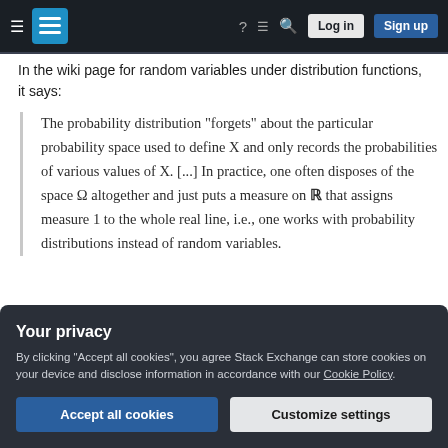Stack Exchange navigation bar with hamburger menu, logo, help, chat, search icons, Log in and Sign up buttons
In the wiki page for random variables under distribution functions, it says:
The probability distribution "forgets" about the particular probability space used to define X and only records the probabilities of various values of X. [...] In practice, one often disposes of the space Ω altogether and just puts a measure on ℝ that assigns measure 1 to the whole real line, i.e., one works with probability distributions instead of random variables.
Your privacy
By clicking “Accept all cookies”, you agree Stack Exchange can store cookies on your device and disclose information in accordance with our Cookie Policy.
Accept all cookies
Customize settings